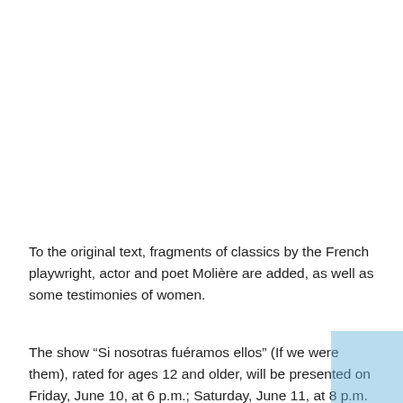To the original text, fragments of classics by the French playwright, actor and poet Molière are added, as well as some testimonies of women.
The show “Si nosotras fuéramos ellos” (If we were them), rated for ages 12 and older, will be presented on Friday, June 10, at 6 p.m.; Saturday, June 11, at 8 p.m. and Sunday, June 12 at 6 p.m.,